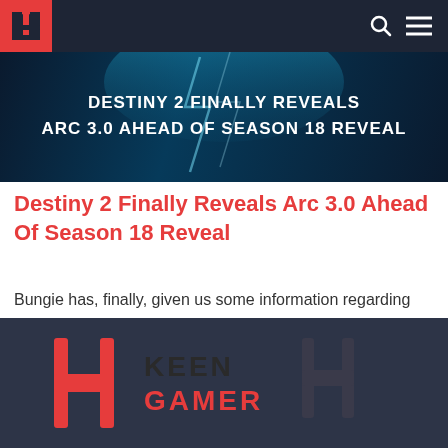Keen Gamer navigation bar
[Figure (screenshot): Destiny 2 Finally Reveals ARC 3.0 Ahead Of Season 18 Reveal - hero banner image with blue lightning background and white bold text]
Destiny 2 Finally Reveals Arc 3.0 Ahead Of Season 18 Reveal
Bungie has, finally, given us some information regarding Arc 3.0 in Destiny 2 in a blog post on Bungie.net. Arc is the final element to undergo a 3.0 treatment in…
[Figure (logo): Keen Gamer logo with red H-bar icon and text KEEN GAMER on dark background]